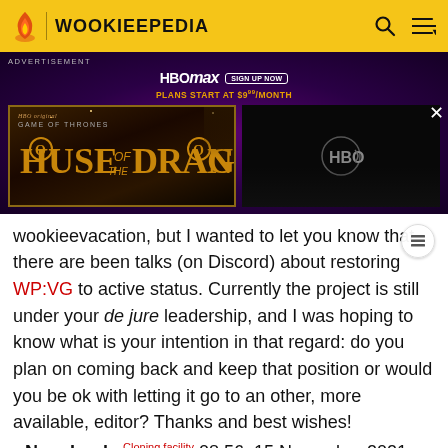WOOKIEEPEDIA
[Figure (screenshot): HBO Max advertisement banner showing House of the Dragon (Game of Thrones) promotional image on the left and HBO logo on dark background on the right. Plans start at $9.99/month.]
wookieevacation, but I wanted to let you know that there are been talks (on Discord) about restoring WP:VG to active status. Currently the project is still under your de jure leadership, and I was hoping to know what is your intention in that regard: do you plan on coming back and keep that position or would you be ok with letting it go to an other, more available, editor? Thanks and best wishes! --NanoLuuke Cloning facility 08:56, 15 November 2021 (UTC)